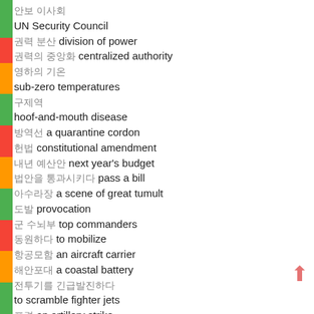안보 이사회
UN Security Council
권력 분산 division of power
권력의 중앙화 centralized authority
영하의 기온
sub-zero temperatures
구제역
hoof-and-mouth disease
방역선 a quarantine cordon
헌법 constitutional amendment
내년 예산안 next year's budget
법안을 통과시키다 pass a bill
아수라장 a scene of great tumult
도발 provocation
군 수뇌부 top commanders
동원하다 to mobilize
항공모함 an aircraft carrier
해안포대 a coastal battery
전투기를 긴급발진하다
to scramble fighter jets
포격 an artillery strike
Podcast about this!